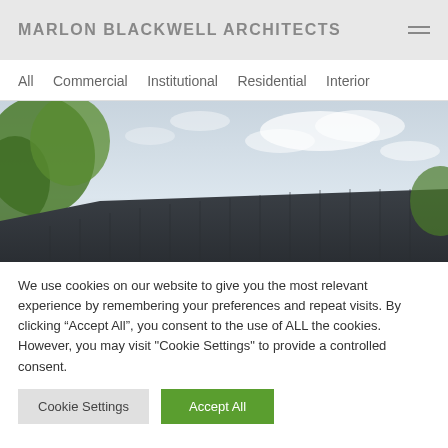MARLON BLACKWELL ARCHITECTS
All  Commercial  Institutional  Residential  Interior
[Figure (photo): Exterior photograph of a dark corrugated metal building with trees on the left side against a cloudy sky]
We use cookies on our website to give you the most relevant experience by remembering your preferences and repeat visits. By clicking "Accept All", you consent to the use of ALL the cookies. However, you may visit "Cookie Settings" to provide a controlled consent.
Cookie Settings  |  Accept All